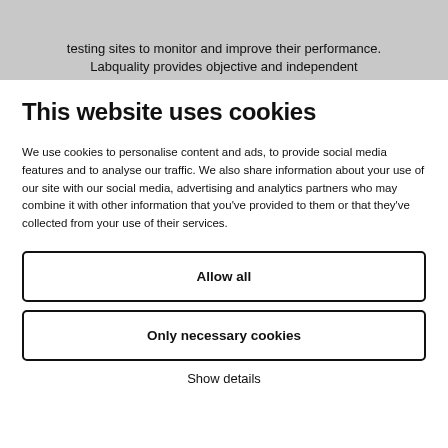testing sites to monitor and improve their performance. Labquality provides objective and independent ...
This website uses cookies
We use cookies to personalise content and ads, to provide social media features and to analyse our traffic. We also share information about your use of our site with our social media, advertising and analytics partners who may combine it with other information that you've provided to them or that they've collected from your use of their services.
Allow all
Only necessary cookies
Show details